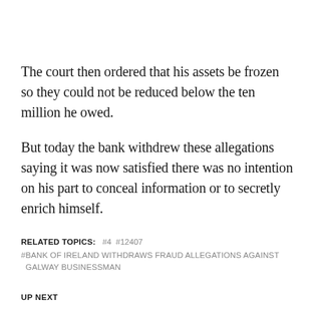The court then ordered that his assets be frozen so they could not be reduced below the ten million he owed.
But today the bank withdrew these allegations saying it was now satisfied there was no intention on his part to conceal information or to secretly enrich himself.
RELATED TOPICS:  #4  #12407
#BANK OF IRELAND WITHDRAWS FRAUD ALLEGATIONS AGAINST GALWAY BUSINESSMAN
UP NEXT